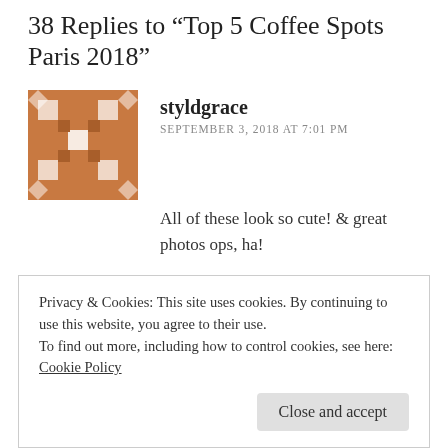38 Replies to "Top 5 Coffee Spots Paris 2018"
[Figure (illustration): Avatar image for commenter styldgrace — a brown and white geometric patterned square avatar]
styldgrace
SEPTEMBER 3, 2018 AT 7:01 PM
All of these look so cute! & great photos ops, ha!
★ Liked by 1 person
↩ Reply
Privacy & Cookies: This site uses cookies. By continuing to use this website, you agree to their use.
To find out more, including how to control cookies, see here:
Cookie Policy